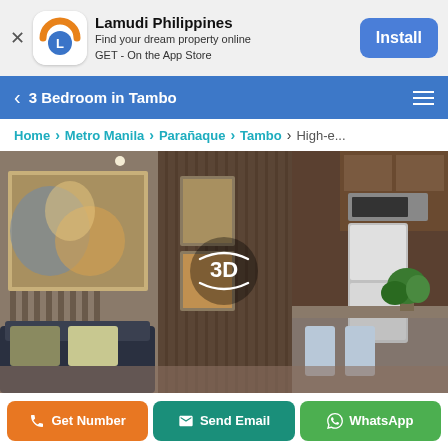[Figure (screenshot): Lamudi Philippines app install banner with logo, app name, tagline, and Install button]
3 Bedroom in Tambo
Home > Metro Manila > Parañaque > Tambo > High-e...
[Figure (photo): Interior photo of a high-end 3 bedroom unit in Tambo showing living area, kitchen, and dining area with 3D tour badge overlay]
Get Number | Send Email | WhatsApp